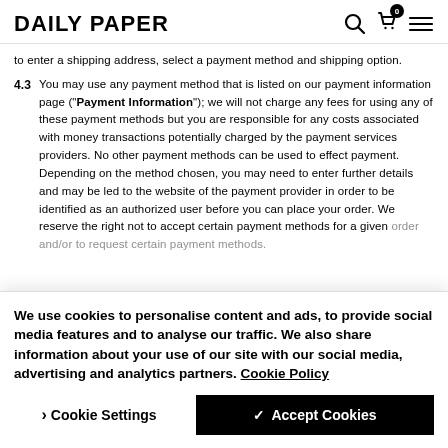DAILY PAPER
to enter a shipping address, select a payment method and shipping option.
4.3  You may use any payment method that is listed on our payment information page ("Payment Information"); we will not charge any fees for using any of these payment methods but you are responsible for any costs associated with money transactions potentially charged by the payment services providers. No other payment methods can be used to effect payment. Depending on the method chosen, you may need to enter further details and may be led to the website of the payment provider in order to be identified as an authorized user before you can place your order. We reserve the right not to accept certain payment methods for a given order and/or to request certain payment methods.
We use cookies to personalise content and ads, to provide social media features and to analyse our traffic. We also share information about your use of our site with our social media, advertising and analytics partners. Cookie Policy
Cookie Settings  ✓ Accept Cookies